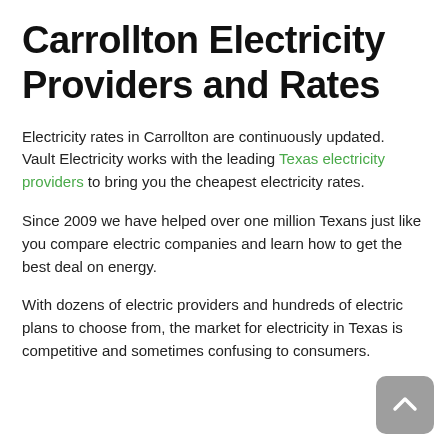Carrollton Electricity Providers and Rates
Electricity rates in Carrollton are continuously updated.  Vault Electricity works with the leading Texas electricity providers to bring you the cheapest electricity rates.
Since 2009 we have helped over one million Texans just like you compare electric companies and learn how to get the best deal on energy.
With dozens of electric providers and hundreds of electric plans to choose from, the market for electricity in Texas is competitive and sometimes confusing to consumers.